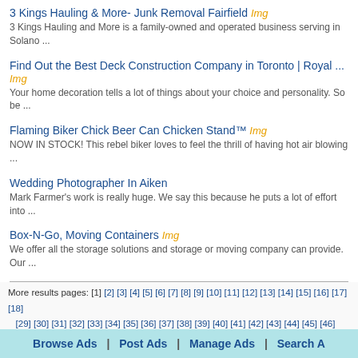3 Kings Hauling & More- Junk Removal Fairfield Img
3 Kings Hauling and More is a family-owned and operated business serving in Solano ...
Find Out the Best Deck Construction Company in Toronto | Royal ... Img
Your home decoration tells a lot of things about your choice and personality. So be ...
Flaming Biker Chick Beer Can Chicken Stand™ Img
NOW IN STOCK! This rebel biker loves to feel the thrill of having hot air blowing ...
Wedding Photographer In Aiken
Mark Farmer's work is really huge. We say this because he puts a lot of effort into ...
Box-N-Go, Moving Containers Img
We offer all the storage solutions and storage or moving company can provide. Our ...
More results pages: [1] [2] [3] [4] [5] [6] [7] [8] [9] [10] [11] [12] [13] [14] [15] [16] [17] [18] [29] [30] [31] [32] [33] [34] [35] [36] [37] [38] [39] [40] [41] [42] [43] [44] [45] [46] [47] [48] [59] [60] [61] [62] [63] [64] [65] [66] [67] [68] [69] [70] [71] [72] [73] [74] [75] [76] [77] [78] [89] [90] [91] [92] [93] [94] [95] [96] [97] [98] [99] [100] [101] [102] [103] [104]
USNetAds > Communities > Services Offered
© 2022 USNetAds.com
Job Posting | Canada Classifieds | UK Free Ads | Australia Free Ads | India
2022-08-18 (0.4...
Browse Ads | Post Ads | Manage Ads | Search A